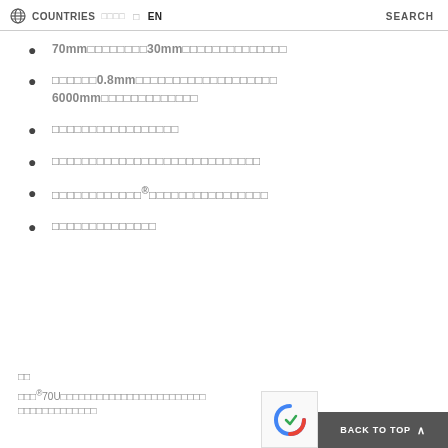COUNTRIES   □□□□ □ EN  SEARCH
70mm□□□□□□□□30mm□□□□□□□□□□□□□□
□□□□□□0.8mm□□□□□□□□□□□□□□□□□□□ 6000mm□□□□□□□□□□□□□
□□□□□□□□□□□□□□□□□
□□□□□□□□□□□□□□□□□□□□□□□□□□□□
□□□□□□□□□□□□®□□□□□□□□□□□□□□□□
□□□□□□□□□□□□□□
□□
□□□®70U□□□□□□□□□□□□□□□□□□□□□□□□ □□□□□□□□□□□□□